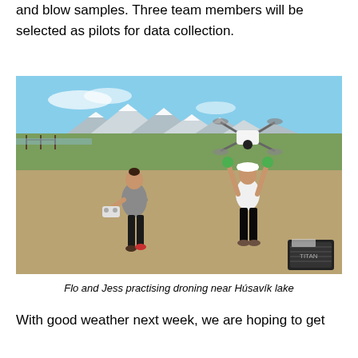and blow samples. Three team members will be selected as pilots for data collection.
[Figure (photo): Two women practising drone flying near Húsavík lake. One woman in grey top holds a controller while the other in white top and hard hat holds a drone above her head. Snow-capped mountains visible in background.]
Flo and Jess practising droning near Húsavík lake
With good weather next week, we are hoping to get